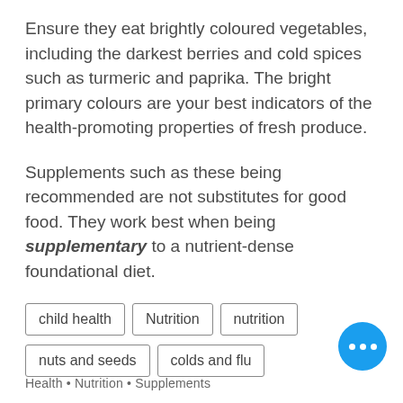Ensure they eat brightly coloured vegetables, including the darkest berries and cold spices such as turmeric and paprika. The bright primary colours are your best indicators of the health-promoting properties of fresh produce.
Supplements such as these being recommended are not substitutes for good food. They work best when being supplementary to a nutrient-dense foundational diet.
child health
Nutrition
nutrition
nuts and seeds
colds and flu
Health • Nutrition • Supplements